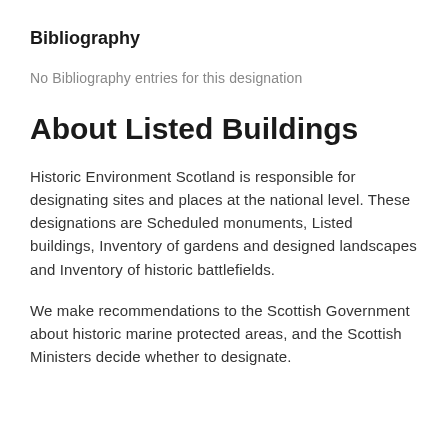Bibliography
No Bibliography entries for this designation
About Listed Buildings
Historic Environment Scotland is responsible for designating sites and places at the national level. These designations are Scheduled monuments, Listed buildings, Inventory of gardens and designed landscapes and Inventory of historic battlefields.
We make recommendations to the Scottish Government about historic marine protected areas, and the Scottish Ministers decide whether to designate.